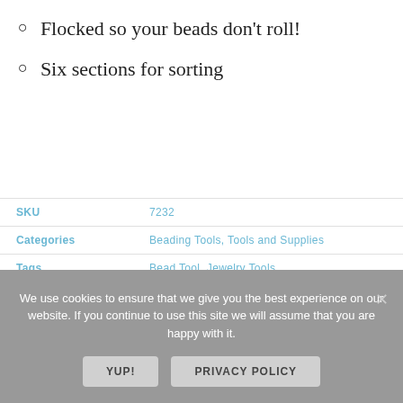Flocked so your beads don't roll!
Six sections for sorting
| SKU | 7232 |
| Categories | Beading Tools, Tools and Supplies |
| Tags | Bead Tool, Jewelry Tools |
We use cookies to ensure that we give you the best experience on our website. If you continue to use this site we will assume that you are happy with it.